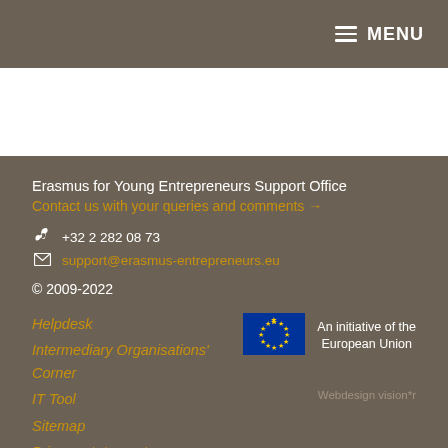MENU
Erasmus for Young Entrepreneurs Support Office
Contact us with your queries and comments →
+32 2 282 08 73
support@erasmus-entrepreneurs.eu
© 2009-2022
Helpdesk
Intermediary Organisations' Corner
IT Tool
Sitemap
Privacy statement
[Figure (logo): EU flag — blue rectangle with circle of yellow stars]
An initiative of the European Union
Webdesign vision*r